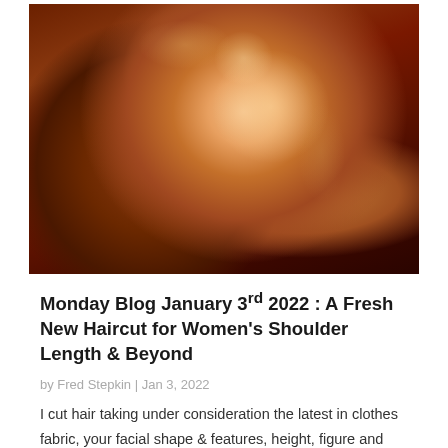[Figure (photo): Close-up photo of a woman with layered auburn/copper shoulder-length hair with highlights, looking downward slightly, against a dark reddish-brown background.]
Monday Blog January 3rd 2022 : A Fresh New Haircut for Women's Shoulder Length & Beyond
by Fred Stepkin | Jan 3, 2022
I cut hair taking under consideration the latest in clothes fabric, your facial shape & features, height, figure and